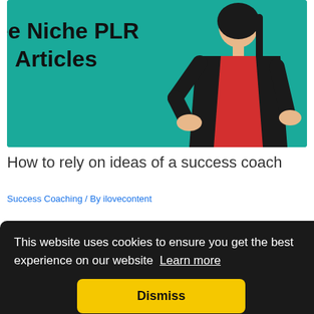[Figure (illustration): Teal/green background promotional image with text 'Free Niche PLR Articles' on the left in bold black, and an illustrated woman in a black blazer with red top gesturing on the right side.]
How to rely on ideas of a success coach
Success Coaching / By ilovecontent
This website uses cookies to ensure you get the best experience on our website  Learn more
Dismiss